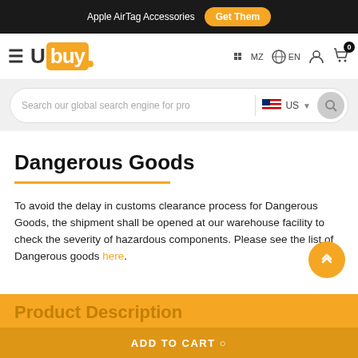Apple AirTag Accessories  Get Them
[Figure (logo): Ubuy logo with hamburger menu, MZ country selector, EN language selector, user icon, and cart icon with 0 badge]
Search our global search engine for pro  US
Dangerous Goods
To avoid the delay in customs clearance process for Dangerous Goods, the shipment shall be opened at our warehouse facility to check the severity of hazardous components. Please see the list of Dangerous goods here.
Product Description
ADD TO CART